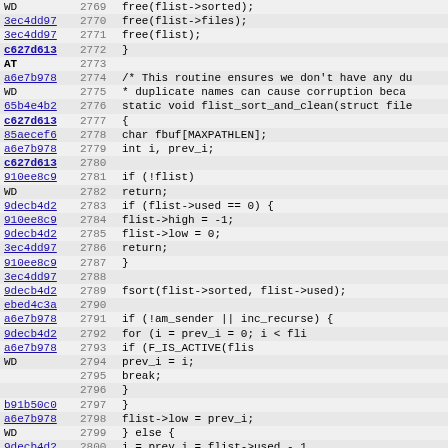[Figure (screenshot): Source code viewer showing C code lines 2769-2800 with commit hashes, line numbers, and code content including flist operations and flist_sort_and_clean function]